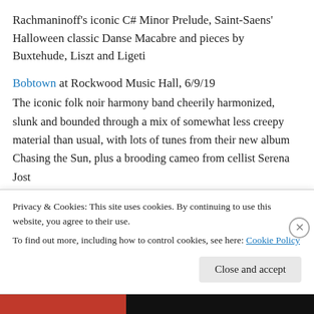Rachmaninoff's iconic C# Minor Prelude, Saint-Saens' Halloween classic Danse Macabre and pieces by Buxtehude, Liszt and Ligeti
Bobtown at Rockwood Music Hall, 6/9/19
The iconic folk noir harmony band cheerily harmonized, slunk and bounded through a mix of somewhat less creepy material than usual, with lots of tunes from their new album Chasing the Sun, plus a brooding cameo from cellist Serena Jost
The New York Philharmonic in Prospect Park, 6/14/19
Privacy & Cookies: This site uses cookies. By continuing to use this website, you agree to their use.
To find out more, including how to control cookies, see here: Cookie Policy